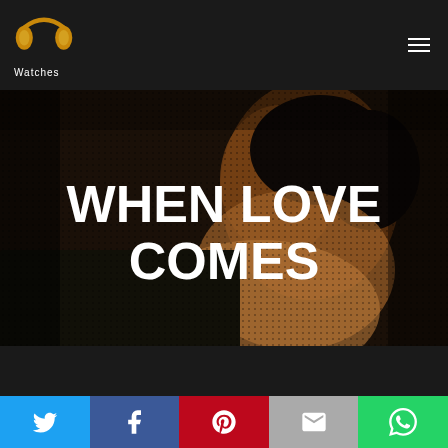PP Watches — navigation header with logo and hamburger menu
[Figure (photo): Dark atmospheric photo of a person with text overlay reading WHEN LOVE COMES]
WHEN LOVE COMES
Social share buttons: Twitter, Facebook, Pinterest, Email, WhatsApp